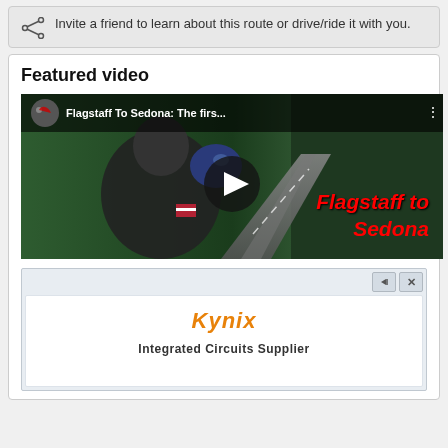Invite a friend to learn about this route or drive/ride it with you.
Featured video
[Figure (screenshot): YouTube video thumbnail showing a motorcyclist riding from behind on a forest road, with title 'Flagstaff To Sedona: The firs...' and red italic text overlay 'Flagstaff to Sedona'. A play button is visible in the center.]
[Figure (screenshot): Advertisement box with 'Kynix' logo in orange italic text and partially visible text 'Integrated Circuits Supplier' below.]